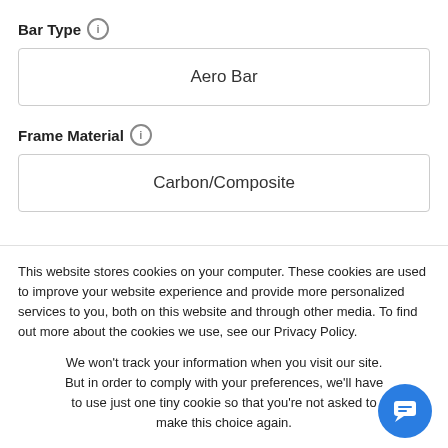Bar Type
Aero Bar
Frame Material
Carbon/Composite
This website stores cookies on your computer. These cookies are used to improve your website experience and provide more personalized services to you, both on this website and through other media. To find out more about the cookies we use, see our Privacy Policy.
We won't track your information when you visit our site. But in order to comply with your preferences, we'll have to use just one tiny cookie so that you're not asked to make this choice again.
Accept
Decline